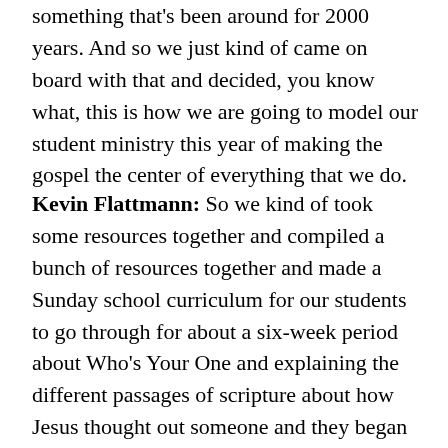something that's been around for 2000 years. And so we just kind of came on board with that and decided, you know what, this is how we are going to model our student ministry this year of making the gospel the center of everything that we do.
Kevin Flattmann: So we kind of took some resources together and compiled a bunch of resources together and made a Sunday school curriculum for our students to go through for about a six-week period about Who's Your One and explaining the different passages of scripture about how Jesus thought out someone and they began to be saved. And then after that, we did a Wednesday night series, talking about that one person that you're going to come into faith in Jesus Christ with. And then in February or early January,